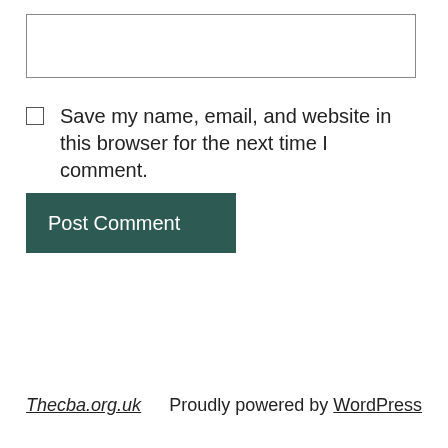[Figure (other): Text input box (empty textarea/form field with border)]
Save my name, email, and website in this browser for the next time I comment.
Post Comment
Thecba.org.uk   Proudly powered by WordPress